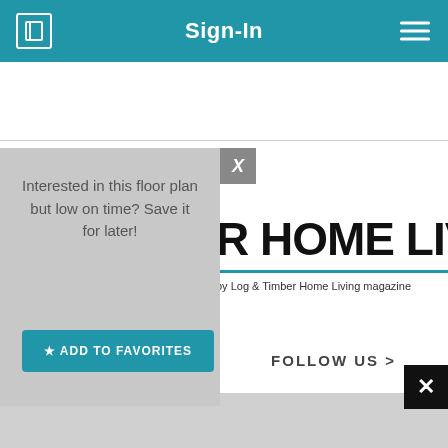Sign-In
[Figure (screenshot): Mobile app navigation bar with back icon, Sign-In title, and hamburger menu]
Interested in this floor plan but low on time? Save it for later!
★ ADD TO FAVORITES
R HOME LIVING
by Log & Timber Home Living magazine
FOLLOW US >